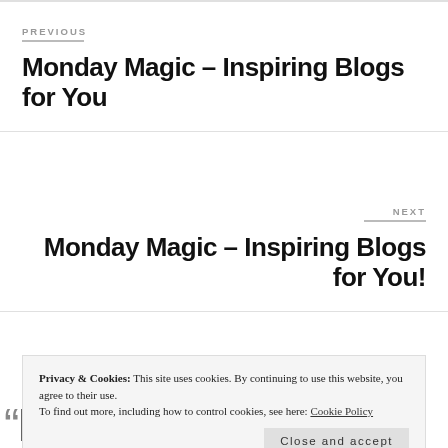PREVIOUS
Monday Magic – Inspiring Blogs for You
NEXT
Monday Magic – Inspiring Blogs for You!
Privacy & Cookies: This site uses cookies. By continuing to use this website, you agree to their use. To find out more, including how to control cookies, see here: Cookie Policy
Close and accept
Farewell to Me and